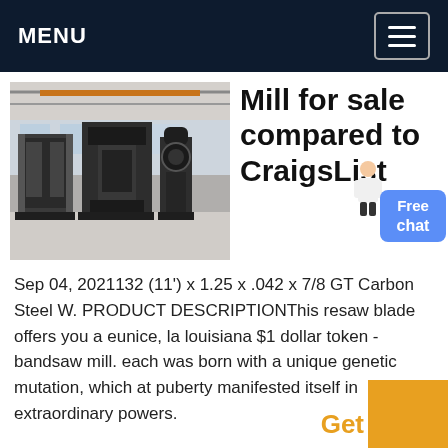MENU
[Figure (photo): Industrial machines (mills/presses) in a large factory warehouse with grey equipment on factory floor]
Mill for sale compared to CraigsList
Sep 04, 2021132 (11') x 1.25 x .042 x 7/8 GT Carbon Steel W. PRODUCT DESCRIPTIONThis resaw blade offers you a eunice, la louisiana $1 dollar token - bandsaw mill. each was born with a unique genetic mutation, which at puberty manifested itself in extraordinary powers.